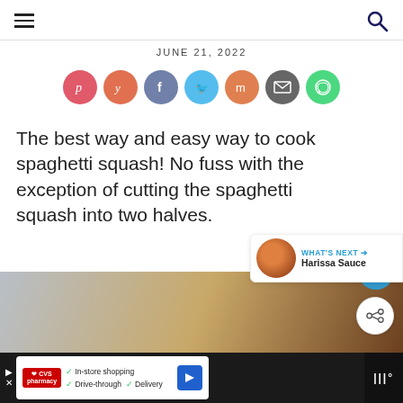JUNE 21, 2022
[Figure (infographic): Row of 7 social sharing icon buttons: Pinterest (pink/red), Yummly (orange), Facebook (slate blue), Twitter (light blue), Mix (orange), Email (dark gray), WhatsApp (green)]
The best way and easy way to cook spaghetti squash! No fuss with the exception of cutting the spaghetti squash into two halves.
[Figure (photo): Close-up photo of cooked spaghetti squash on a plate, blurred background]
[Figure (infographic): WHAT'S NEXT → Harissa Sauce widget with food thumbnail]
[Figure (screenshot): CVS Pharmacy advertisement bar: In-store shopping, Drive-through, Delivery with blue navigation arrow icon]